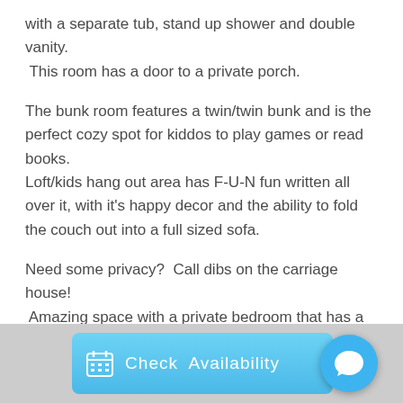with a separate tub, stand up shower and double vanity. This room has a door to a private porch.
The bunk room features a twin/twin bunk and is the perfect cozy spot for kiddos to play games or read books. Loft/kids hang out area has F-U-N fun written all over it, with it's happy decor and the ability to fold the couch out into a full sized sofa.
Need some privacy?  Call dibs on the carriage house!  Amazing space with a private bedroom that has a queen
[Figure (other): Check Availability button bar with calendar icon on left, 'Check Availability' text in center, and a blue chat bubble circle icon on the right]